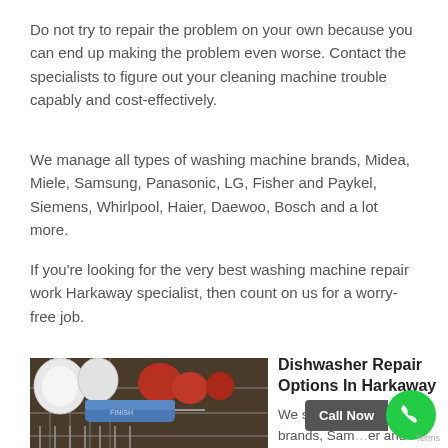Do not try to repair the problem on your own because you can end up making the problem even worse. Contact the specialists to figure out your cleaning machine trouble capably and cost-effectively.
We manage all types of washing machine brands, Midea, Miele, Samsung, Panasonic, LG, Fisher and Paykel, Siemens, Whirlpool, Haier, Daewoo, Bosch and a lot more.
If you're looking for the very best washing machine repair work Harkaway specialist, then count on us for a worry-free job.
[Figure (photo): Photo of the inside of a dishwasher rack with white plates and red cups visible, and a blue dishwasher accessory in the foreground.]
Dishwasher Repair Options In Harkaway
We service all dishwasher brands, Samsung, Fisher and Paykel, LG, Miele, Panasonic, Electrolux,